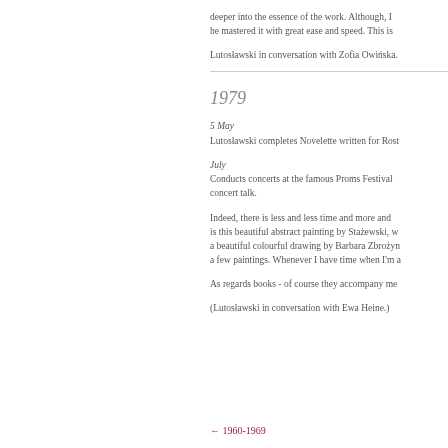deeper into the essence of the work. Although, he mastered it with great ease and speed. This is
Lutosławski in conversation with Zofia Owińska.
1979
5 May
Lutosławski completes Novelette written for Rost
July
Conducts concerts at the famous Proms Festival concert talk.
Indeed, there is less and less time and more and is this beautiful abstract painting by Stażewski, w a beautiful colourful drawing by Barbara Zbrożyn a few paintings. Whenever I have time when I'm a
As regards books - of course they accompany me
(Lutosławski in conversation with Ewa Heine.)
← 1960-1969